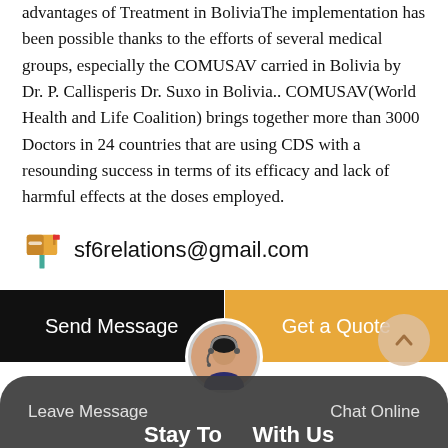advantages of Treatment in BoliviaThe implementation has been possible thanks to the efforts of several medical groups, especially the COMUSAV carried in Bolivia by Dr. P. Callisperis Dr. Suxo in Bolivia.. COMUSAV(World Health and Life Coalition) brings together more than 3000 Doctors in 24 countries that are using CDS with a resounding success in terms of its efficacy and lack of harmful effects at the doses employed.
sf6relations@gmail.com
[Figure (other): Two buttons: black 'Send Message' button on left and orange 'Get a Quote' button on right]
[Figure (other): Scroll-to-top circular button with upward chevron icon]
[Figure (photo): Circular avatar photo of a customer service representative with headset]
Stay To  With Us  Leave Message  Chat Online